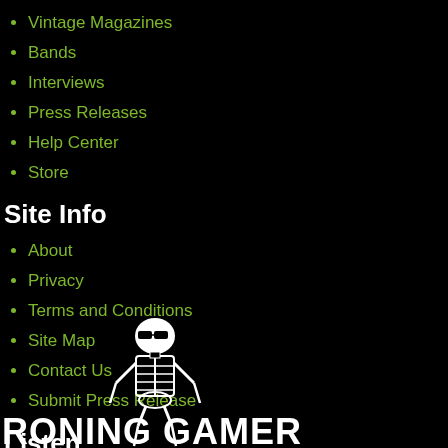Vintage Magazines
Bands
Interviews
Press Releases
Help Center
Store
Site Info
About
Privacy
Terms and Conditions
Site Map
Contact Us
Submit Press Release
Listen
[Figure (logo): Skeleton figure with sunglasses above stylized block text logo reading 'RONING GAMER' (partial, cut off at bottom)]